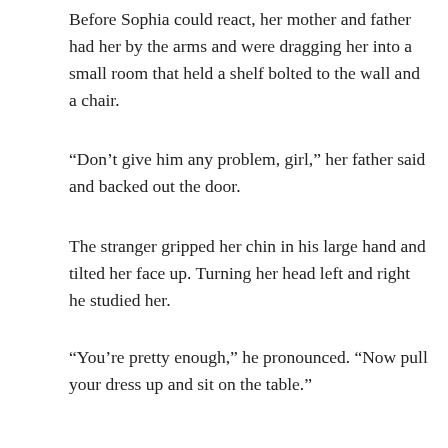Before Sophia could react, her mother and father had her by the arms and were dragging her into a small room that held a shelf bolted to the wall and a chair.
“Don’t give him any problem, girl,” her father said and backed out the door.
The stranger gripped her chin in his large hand and tilted her face up. Turning her head left and right he studied her.
“You’re pretty enough,” he pronounced. “Now pull your dress up and sit on the table.”
“Excuse me?” she finally forced out.
“I need to check to see if you’re a virgin. Get on the table